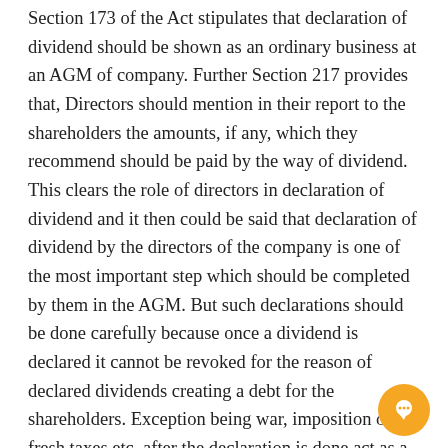Section 173 of the Act stipulates that declaration of dividend should be shown as an ordinary business at an AGM of company. Further Section 217 provides that, Directors should mention in their report to the shareholders the amounts, if any, which they recommend should be paid by the way of dividend. This clears the role of directors in declaration of dividend and it then could be said that declaration of dividend by the directors of the company is one of the most important step which should be completed by them in the AGM. But such declarations should be done carefully because once a dividend is declared it cannot be revoked for the reason of declared dividends creating a debt for the shareholders. Exception being war, imposition of fresh taxes etc. after the declaration is done act as a valid excuse in the eyes of law for revoking the dividend. Before the declaration of dividend even takes place a part of profits may be distributed before the accounts are presented and dividends are declared. Such dividends are called the interim dividends. Section 207 of the